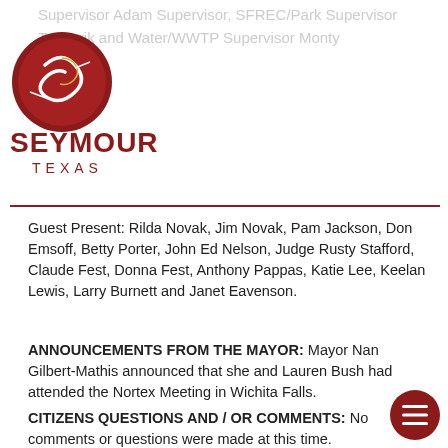Supervisor Adam Supervisor, SFREC/Park Supervisor Todd rik and Water/WWTP Supervisor Monty You
[Figure (logo): Seymour Texas city logo — red circular emblem with S lettering and text SEYMOUR TEXAS below]
Guest Present: Rilda Novak, Jim Novak, Pam Jackson, Don Emsoff, Betty Porter, John Ed Nelson, Judge Rusty Stafford, Claude Fest, Donna Fest, Anthony Pappas, Katie Lee, Keelan Lewis, Larry Burnett and Janet Eavenson.
ANNOUNCEMENTS FROM THE MAYOR: Mayor Nan Gilbert-Mathis announced that she and Lauren Bush had attended the Nortex Meeting in Wichita Falls.
CITIZENS QUESTIONS AND / OR COMMENTS: No comments or questions were made at this time.